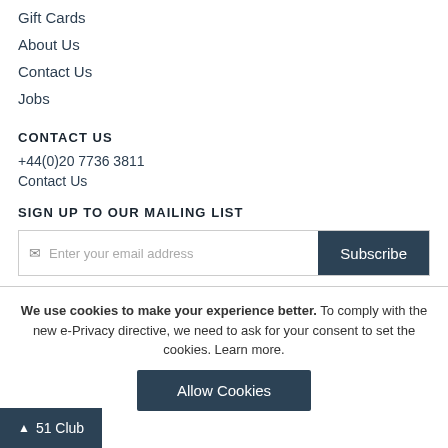Gift Cards
About Us
Contact Us
Jobs
CONTACT US
+44(0)20 7736 3811
Contact Us
SIGN UP TO OUR MAILING LIST
Enter your email address
Subscribe
We use cookies to make your experience better. To comply with the new e-Privacy directive, we need to ask for your consent to set the cookies. Learn more.
Allow Cookies
51 Club